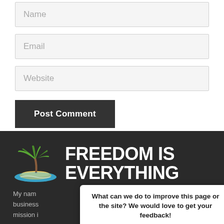Name
Email
Website
Post Comment
[Figure (logo): Palm tree on island logo for Freedom Is Everything website]
FREEDOM IS EVERYTHING
What can we do to improve this page or the site? We would love to get your feedback!
Reply
My nam business mission i
Privacy · Terms